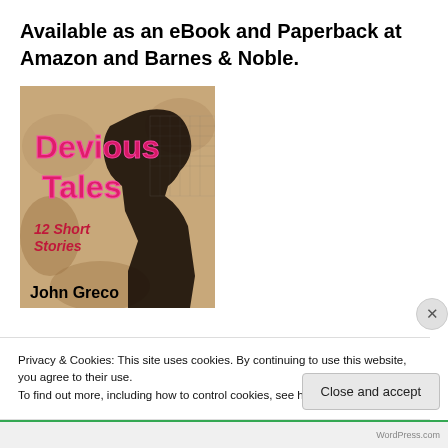Available as an eBook and Paperback at Amazon and Barnes & Noble.
[Figure (illustration): Book cover for 'Devious Tales - 12 Short Stories' by John Greco. Sandy/tan background with dark silhouette figure. Pink neon-style text reading 'Devious Tales' and '12 Short Stories'. Author name 'John Greco' in black bold at bottom.]
Privacy & Cookies: This site uses cookies. By continuing to use this website, you agree to their use.
To find out more, including how to control cookies, see here: Cookie Policy